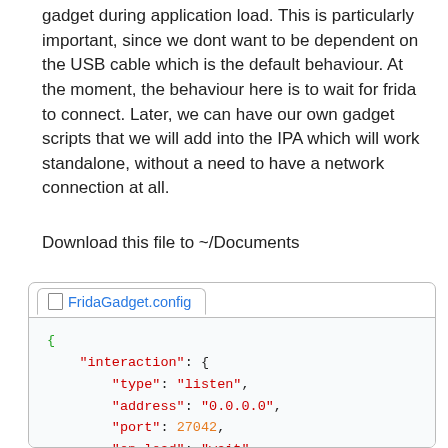gadget during application load. This is particularly important, since we dont want to be dependent on the USB cable which is the default behaviour. At the moment, the behaviour here is to wait for frida to connect. Later, we can have our own gadget scripts that we will add into the IPA which will work standalone, without a need to have a network connection at all.
Download this file to ~/Documents
[Figure (screenshot): Code block showing FridaGadget.config JSON file with interaction settings: type listen, address 0.0.0.0, port 27042, on_load wait]